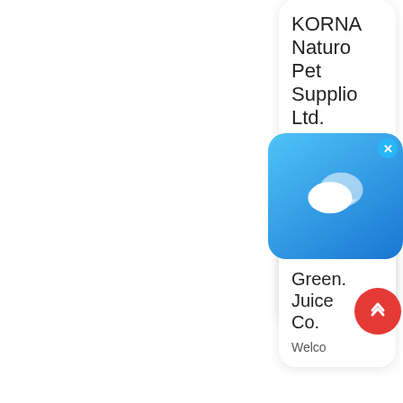KORNA Naturc Pet Suppli Ltd.
[Figure (screenshot): Chat application popup with blue gradient background showing speech bubble icons and a close (X) button]
Mount Dog Mu
[Figure (logo): Small gray logo/image placeholder]
Green. Juice Co.
Welco